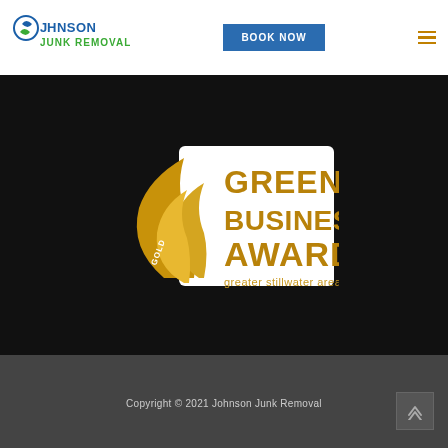[Figure (logo): Johnson Junk Removal logo with blue and green text and a circular water/swirl icon]
[Figure (screenshot): Blue 'BOOK NOW' button]
[Figure (illustration): Hamburger menu icon with three orange/gold horizontal lines]
[Figure (logo): Gold Green Business Award badge for Greater Stillwater Area with golden leaf/flame design]
Copyright © 2021 Johnson Junk Removal